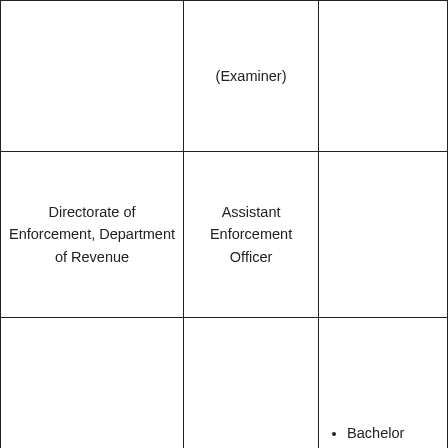|  | (Examiner) |  |
| Directorate of Enforcement, Department of Revenue | Assistant Enforcement Officer |  |
| Central Bureau of Investigation CBI | Sub Inspector | Bachelor Degree in Any Stream.
Age Limit : 20-30 Years. |
| Department of Post | Inspector | Bachelor |